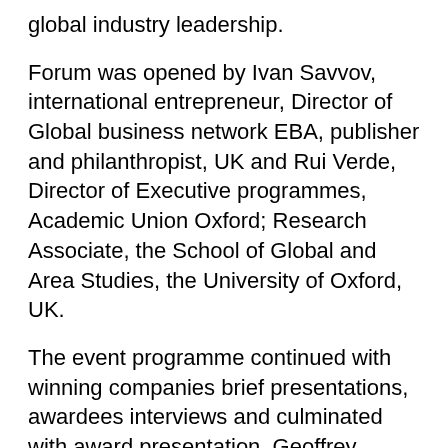global industry leadership.
Forum was opened by Ivan Savvov, international entrepreneur, Director of Global business network EBA, publisher and philanthropist, UK and Rui Verde, Director of Executive programmes, Academic Union Oxford; Research Associate, the School of Global and Area Studies, the University of Oxford, UK.
The event programme continued with winning companies brief presentations, awardees interviews and culminated with award presentation. Geoffrey Harris, British Guild of Masters of Ceremony welcomed participants and presented award winners.
Excellence in Quality and Management section was dedicated to promotion of the achievements of prominent regional companies and their TOP-managers, international recognition, assistance to entering new markets and search of potential partners, marketing and PR-support of the winners and their brands. The section presented such regiona leaders, as ITO ROMA, Kuwait, General Manager - Eng. Issa Taha, SC ELIDOR SRL